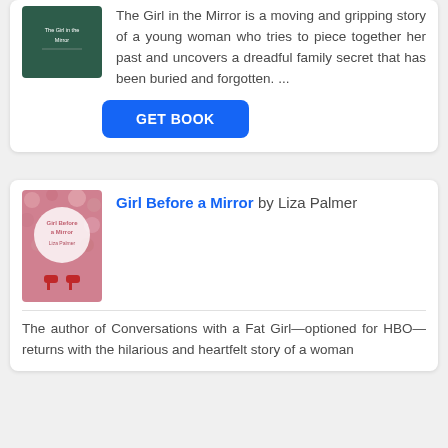[Figure (illustration): Book cover for 'The Girl in the Mirror' with dark green background and white text]
The Girl in the Mirror is a moving and gripping story of a young woman who tries to piece together her past and uncovers a dreadful family secret that has been buried and forgotten. ...
GET BOOK
[Figure (illustration): Book cover for 'Girl Before a Mirror' by Liza Palmer with pink floral background and red shoes]
Girl Before a Mirror by Liza Palmer
The author of Conversations with a Fat Girl—optioned for HBO—returns with the hilarious and heartfelt story of a woman